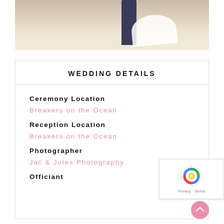[Figure (photo): Wedding photo showing couple on a beach with sand, groom in dark jeans and bride in white dress]
WEDDING DETAILS
Ceremony Location
Breakers on the Ocean
Reception Location
Breakers on the Ocean
Photographer
Jac & Jules Photography
Officiant